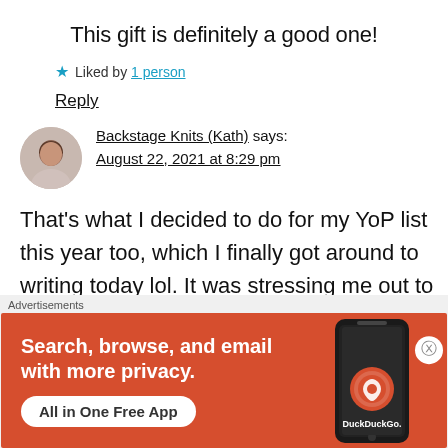This gift is definitely a good one!
★ Liked by 1 person
Reply
Backstage Knits (Kath) says: August 22, 2021 at 8:29 pm
That's what I decided to do for my YoP list this year too, which I finally got around to writing today lol. It was stressing me out to
[Figure (screenshot): DuckDuckGo advertisement banner showing 'Search, browse, and email with more privacy. All in One Free App' with phone graphic and DuckDuckGo logo on orange background]
Advertisements